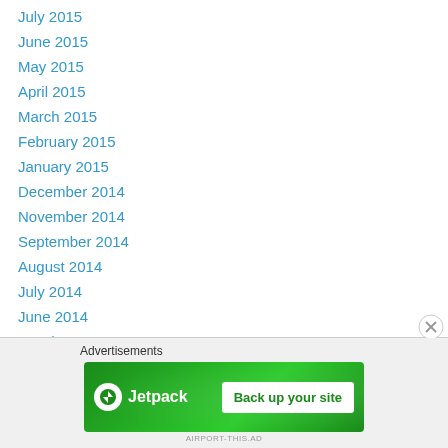July 2015
June 2015
May 2015
April 2015
March 2015
February 2015
January 2015
December 2014
November 2014
September 2014
August 2014
July 2014
June 2014
March 2014
February 2014
[Figure (infographic): Jetpack advertisement banner with green background showing Jetpack logo and 'Back up your site' button]